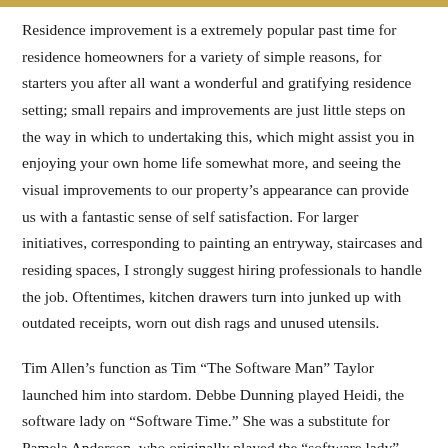Residence improvement is a extremely popular past time for residence homeowners for a variety of simple reasons, for starters you after all want a wonderful and gratifying residence setting; small repairs and improvements are just little steps on the way in which to undertaking this, which might assist you in enjoying your own home life somewhat more, and seeing the visual improvements to our property's appearance can provide us with a fantastic sense of self satisfaction. For larger initiatives, corresponding to painting an entryway, staircases and residing spaces, I strongly suggest hiring professionals to handle the job. Oftentimes, kitchen drawers turn into junked up with outdated receipts, worn out dish rags and unused utensils.
Tim Allen's function as Tim “The Software Man” Taylor launched him into stardom. Debbe Dunning played Heidi, the software lady on “Software Time.” She was a substitute for Pamela Anderson, who originally played the “software lady” function. The Residence Improvement Skilled brand brings together their finest and most useful insights to provide every American